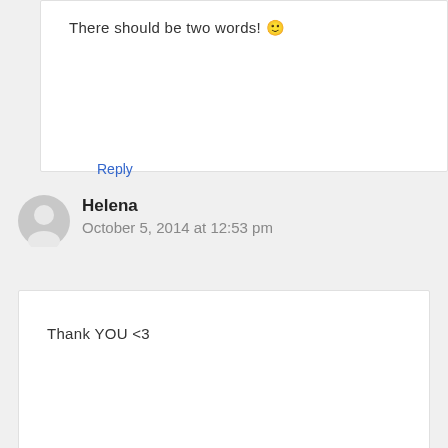There should be two words! 🙂
Reply
Helena
October 5, 2014 at 12:53 pm
Thank YOU <3
Reply